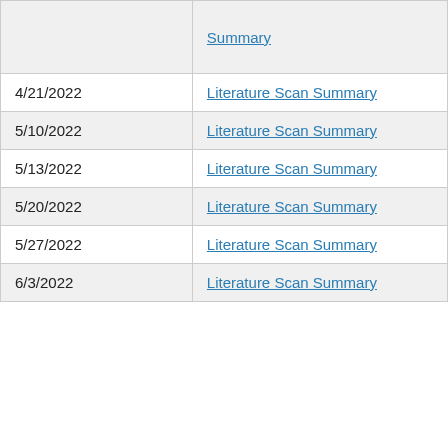| Date | Document |
| --- | --- |
|  | Literature Scan Summary |
| 4/21/2022 | Literature Scan Summary |
| 5/10/2022 | Literature Scan Summary |
| 5/13/2022 | Literature Scan Summary |
| 5/20/2022 | Literature Scan Summary |
| 5/27/2022 | Literature Scan Summary |
| 6/3/2022 | Literature Scan Summary |